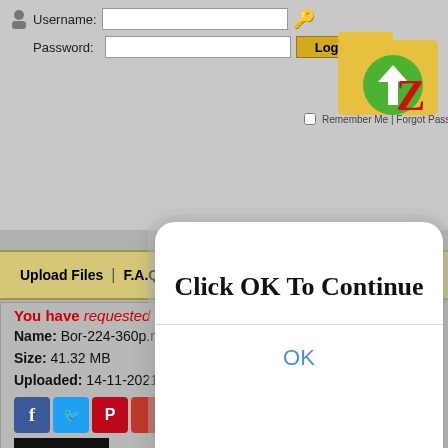[Figure (screenshot): Website header with login form showing Username and Password fields with Login button]
Username:
Password:
Remember Me | Forgot Password?
[Figure (logo): File hosting site logo with yellow folder, arrow and red Z letter]
Upload Files | F.A.Q | Upload Tools | Our Blog | Contact Us
[Figure (screenshot): Modal dialog box with white rounded rectangle, title 'Click OK To Continue' and blue OK button]
You have requested the file:
Name: Bor-224-360p.mp4
Size: 41.32 MB
Uploaded: 14-11-2021 11:59
[Figure (illustration): Row of social sharing icons: Facebook, Twitter, Pinterest, LinkedIn, Reddit, Email, More]